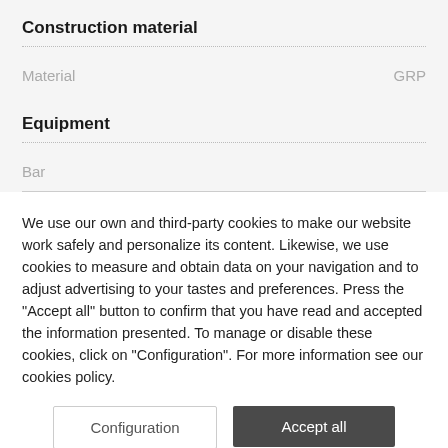Construction material
| Material | GRP |
| --- | --- |
| Material | GRP |
Equipment
Bar
We use our own and third-party cookies to make our website work safely and personalize its content. Likewise, we use cookies to measure and obtain data on your navigation and to adjust advertising to your tastes and preferences. Press the "Accept all" button to confirm that you have read and accepted the information presented. To manage or disable these cookies, click on "Configuration". For more information see our cookies policy.
Configuration
Accept all